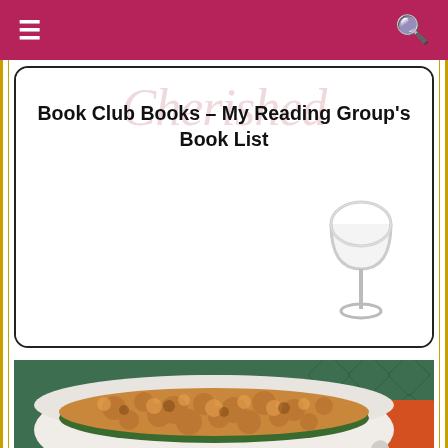≡  🔍
[Figure (illustration): Book Club Books card with title text and decorative wine glass illustration]
Book Club Books – My Reading Group's Book List
[Figure (photo): Close-up photo of a green bean casserole with crispy breadcrumb topping in a white baking dish on a green patterned tablecloth]
World's Best Green Bean Casserole ♥ ♥ ♥ The One & Only Original